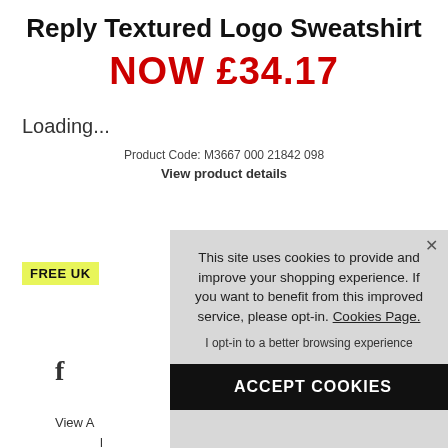Reply Textured Logo Sweatshirt
NOW £34.17
Loading...
Product Code: M3667 000 21842 098
View product details
FREE UK
f
View A
[Figure (screenshot): Cookie consent overlay dialog with message: 'This site uses cookies to provide and improve your shopping experience. If you want to benefit from this improved service, please opt-in. Cookies Page.' with 'I opt-in to a better browsing experience' link and 'ACCEPT COOKIES' button]
This site uses cookies to provide and improve your shopping experience. If you want to benefit from this improved service, please opt-in. Cookies Page.
I opt-in to a better browsing experience
ACCEPT COOKIES